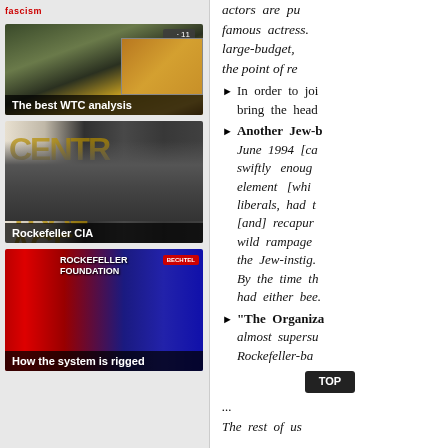[Figure (screenshot): Left sidebar with three thumbnail images: 'The best WTC analysis', 'Rockefeller CIA', 'How the system is rigged']
actors are pu famous actress large-budget, the point of re
In order to joi bring the head
Another Jew-b June 1994 [ca swiftly enoug element [whi liberals, had t [and] recaptur wild rampage the Jew-instig By the time th had either bee.
"The Organiza almost supersu Rockefeller-ba
TOP
...
The rest of us